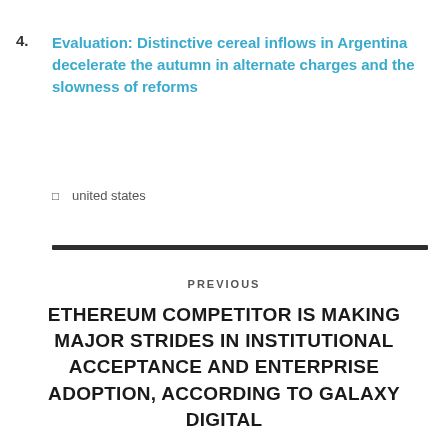4. Evaluation: Distinctive cereal inflows in Argentina decelerate the autumn in alternate charges and the slowness of reforms
□  united states
PREVIOUS
ETHEREUM COMPETITOR IS MAKING MAJOR STRIDES IN INSTITUTIONAL ACCEPTANCE AND ENTERPRISE ADOPTION, ACCORDING TO GALAXY DIGITAL